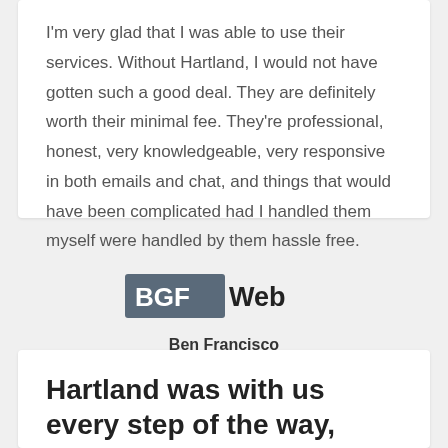I'm very glad that I was able to use their services. Without Hartland, I would not have gotten such a good deal. They are definitely worth their minimal fee. They're professional, honest, very knowledgeable, very responsive in both emails and chat, and things that would have been complicated had I handled them myself were handled by them hassle free.
[Figure (logo): BGFWeb logo — dark background rectangle with white 'BGF' text and dark 'Web' text]
Ben Francisco
BGFweb
Hartland was with us every step of the way, from initial